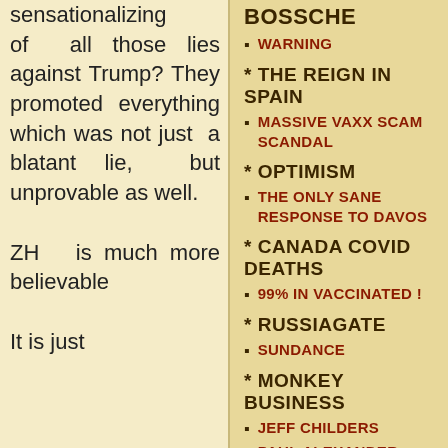sensationalizing of all those lies against Trump? They promoted everything which was not just a blatant lie, but unprovable as well.

ZH is much more believable

It is just
BOSSCHE
WARNING
* THE REIGN IN SPAIN
MASSIVE VAXX SCAM SCANDAL
* OPTIMISM
THE ONLY SANE RESPONSE TO DAVOS
* CANADA COVID DEATHS
99% IN VACCINATED !
* RUSSIAGATE
SUNDANCE
* MONKEY BUSINESS
JEFF CHILDERS
PAUL ALEXANDER
ROBERT MALONE